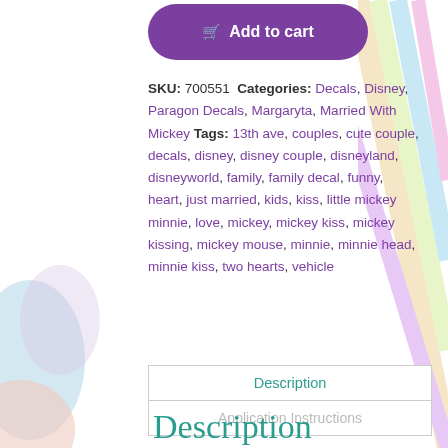[Figure (other): Purple rounded 'Add to cart' button with shopping cart icon]
SKU: 700551 Categories: Decals, Disney, Paragon Decals, Margaryta, Married With Mickey Tags: 13th ave, couples, cute couple, decals, disney, disney couple, disneyland, disneyworld, family, family decal, funny, heart, just married, kids, kiss, little mickey minnie, love, mickey, mickey kiss, mickey kissing, mickey mouse, minnie, minnie head, minnie kiss, two hearts, vehicle
Description
Application Instructions
Description